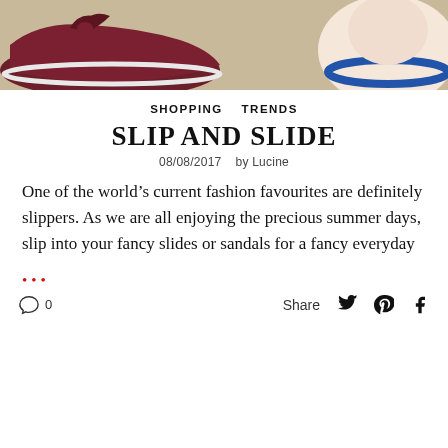[Figure (photo): Hero image showing dark burgundy shoes/slippers on the left and a light-colored hat/sandal on the right against a tan/beige background]
SHOPPING   TRENDS
SLIP AND SLIDE
08/08/2017   by Lucine
One of the world’s current fashion favourites are definitely slippers. As we are all enjoying the precious summer days, slip into your fancy slides or sandals for a fancy everyday
•••
💬  0   Share  🐦  📌  f